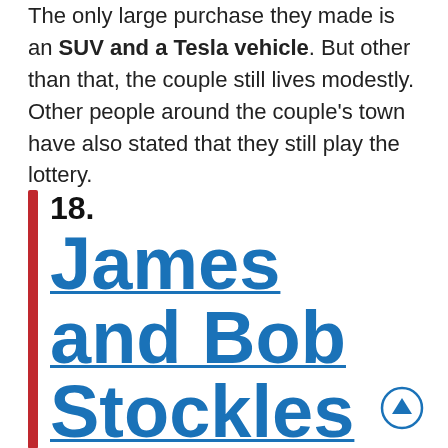The only large purchase they made is an SUV and a Tesla vehicle. But other than that, the couple still lives modestly. Other people around the couple's town have also stated that they still play the lottery.
18. James and Bob Stockles